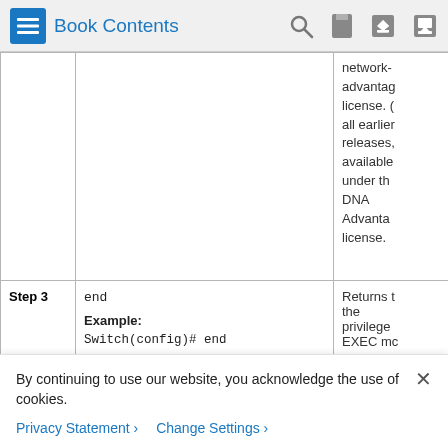Book Contents
|  | Command or Action | Purpose |
| --- | --- | --- |
|  |  | network-advantage license. O all earlier releases, available under the DNA Advantage license. |
| Step 3 | end
Example:
Switch(config)# end | Returns t the privilege EXEC mc |
By continuing to use our website, you acknowledge the use of cookies.
Privacy Statement >   Change Settings >